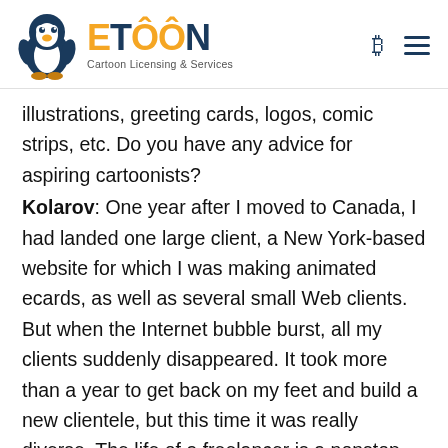[Figure (logo): ETOON logo with cartoon penguin mascot, orange and navy blue wordmark, tagline 'Cartoon Licensing & Services']
illustrations, greeting cards, logos, comic strips, etc. Do you have any advice for aspiring cartoonists?
Kolarov: One year after I moved to Canada, I had landed one large client, a New York-based website for which I was making animated ecards, as well as several small Web clients. But when the Internet bubble burst, all my clients suddenly disappeared. It took more than a year to get back on my feet and build a new clientele, but this time it was really diverse. The life of a freelancer is a nonstop rolle coaster, so you have to be prepared for the ups and